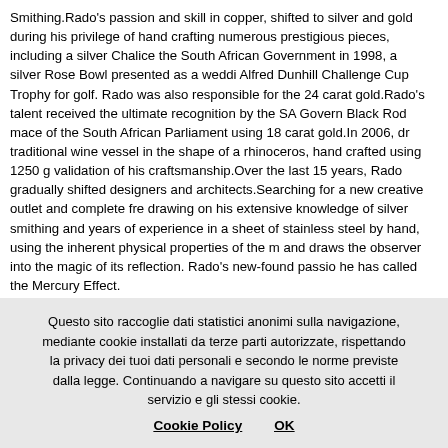Smithing.Rado's passion and skill in copper, shifted to silver and gold during his privilege of hand crafting numerous prestigious pieces, including a silver Chalice the South African Government in 1998, a silver Rose Bowl presented as a wedding Alfred Dunhill Challenge Cup Trophy for golf. Rado was also responsible for the 24 carat gold.Rado's talent received the ultimate recognition by the SA Government Black Rod mace of the South African Parliament using 18 carat gold.In 2006, the traditional wine vessel in the shape of a rhinoceros, hand crafted using 1250 g validation of his craftsmanship.Over the last 15 years, Rado gradually shifted designers and architects.Searching for a new creative outlet and complete freedom drawing on his extensive knowledge of silver smithing and years of experience in a sheet of stainless steel by hand, using the inherent physical properties of the m and draws the observer into the magic of its reflection. Rado's new-found passion he has called the Mercury Effect.
Rado Kirov è nato in Bulgaria nel 1955. Ha sviluppato un interesse nell'arte dei collezione di manufatti dorati datati terzo secolo a.C. Rado ha iniziato l' apprendistato capacità nei seguenti 10 anni sino al trasferimento in Sud Africa con la sua famiglia. Giovanni Paolo II da Nelson Mandela. Negli ultimi 15 anni ha spostato la ricerca su una tecnica unica di manipolazione a mano di un unico foglio di acciaio inossidabile dinamicamente l'ambiente circostante e trasporta l'osservatore nella magia del suo
Questo sito raccoglie dati statistici anonimi sulla navigazione, mediante cookie installati da terze parti autorizzate, rispettando la privacy dei tuoi dati personali e secondo le norme previste dalla legge. Continuando a navigare su questo sito accetti il servizio e gli stessi cookie.
Cookie Policy    OK